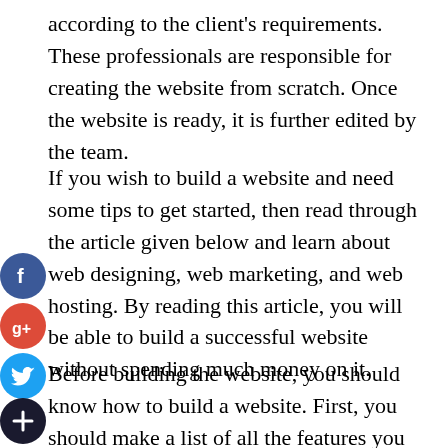according to the client's requirements. These professionals are responsible for creating the website from scratch. Once the website is ready, it is further edited by the team.
If you wish to build a website and need some tips to get started, then read through the article given below and learn about web designing, web marketing, and web hosting. By reading this article, you will be able to build a successful website without spending much money on it.
Before building the website, you should know how to build a website. First, you should make a list of all the features you want your website